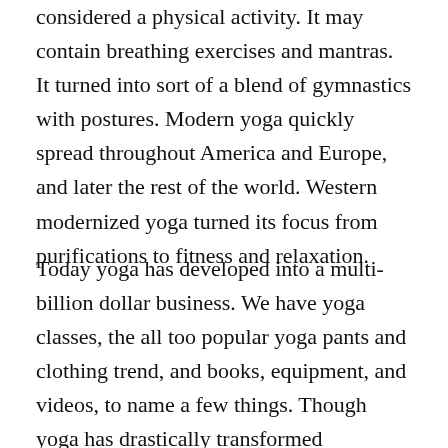considered a physical activity. It may contain breathing exercises and mantras. It turned into sort of a blend of gymnastics with postures. Modern yoga quickly spread throughout America and Europe, and later the rest of the world. Western modernized yoga turned its focus from purifications to fitness and relaxation.
Today yoga has developed into a multi-billion dollar business. We have yoga classes, the all too popular yoga pants and clothing trend, and books, equipment, and videos, to name a few things. Though yoga has drastically transformed throughout the centuries in different parts of the world, its health benefits remained. If you've been considering trying out yoga,